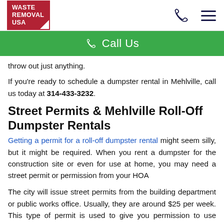Waste Removal USA | Call Us
throw out just anything.
If you're ready to schedule a dumpster rental in Mehlville, call us today at 314-433-3232.
Street Permits & Mehlville Roll-Off Dumpster Rentals
Getting a permit for a roll-off dumpster rental might seem silly, but it might be required. When you rent a dumpster for the construction site or even for use at home, you may need a street permit or permission from your HOA
The city will issue street permits from the building department or public works office. Usually, they are around $25 per week. This type of permit is used to give you permission to use public property for your dumpster rental including the street, a parking lot, or a sidewalk.